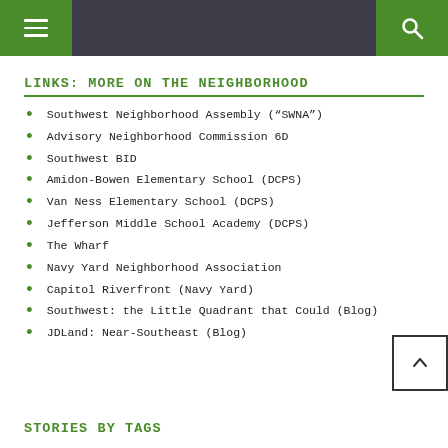Navigation header with hamburger menu and search icon
LINKS: MORE ON THE NEIGHBORHOOD
Southwest Neighborhood Assembly (“SWNA”)
Advisory Neighborhood Commission 6D
Southwest BID
Amidon-Bowen Elementary School (DCPS)
Van Ness Elementary School (DCPS)
Jefferson Middle School Academy (DCPS)
The Wharf
Navy Yard Neighborhood Association
Capitol Riverfront (Navy Yard)
Southwest: the Little Quadrant that Could (Blog)
JDLand: Near-Southeast (Blog)
STORIES BY TAGS